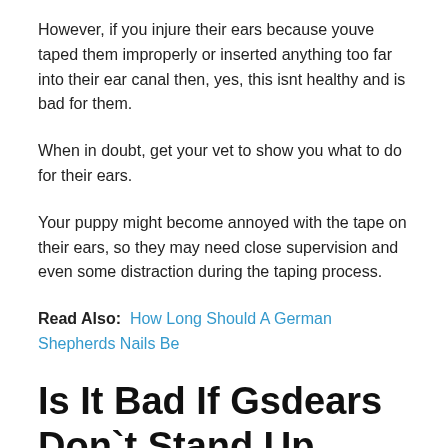However, if you injure their ears because youve taped them improperly or inserted anything too far into their ear canal then, yes, this isnt healthy and is bad for them.
When in doubt, get your vet to show you what to do for their ears.
Your puppy might become annoyed with the tape on their ears, so they may need close supervision and even some distraction during the taping process.
Read Also:  How Long Should A German Shepherds Nails Be
Is It Bad If Gsdears Don`t Stand Up